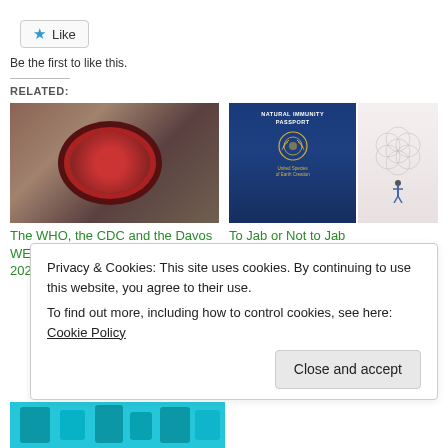[Figure (other): Like button with star icon]
Be the first to like this.
RELATED:
[Figure (photo): Historical courtroom scene with coronavirus graphic overlay - Nuremberg trials image]
The WHO, the CDC and the Davos WEF: The New Nuremberg Trials of 2021. Crimes Against Humanity
[Figure (photo): Natural Immunity Passport book cover (blue with gold emblem) and Flower of Life illustration with figure]
To Jab or Not to Jab
April 24, 2021
In "AntiVax Files"
Privacy & Cookies: This site uses cookies. By continuing to use this website, you agree to their use.
To find out more, including how to control cookies, see here: Cookie Policy
[Figure (photo): Bottom image strip showing teal/cyan colored content]